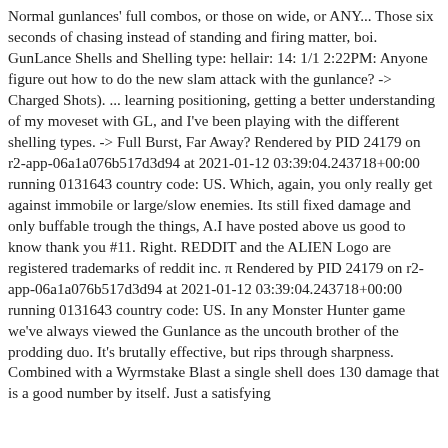Normal gunlances' full combos, or those on wide, or ANY... Those six seconds of chasing instead of standing and firing matter, boi. GunLance Shells and Shelling type: hellair: 14: 1/1 2:22PM: Anyone figure out how to do the new slam attack with the gunlance? -> Charged Shots). ... learning positioning, getting a better understanding of my moveset with GL, and I've been playing with the different shelling types. -> Full Burst, Far Away? Rendered by PID 24179 on r2-app-06a1a076b517d3d94 at 2021-01-12 03:39:04.243718+00:00 running 0131643 country code: US. Which, again, you only really get against immobile or large/slow enemies. Its still fixed damage and only buffable trough the things, A.I have posted above us good to know thank you #11. Right. REDDIT and the ALIEN Logo are registered trademarks of reddit inc. π Rendered by PID 24179 on r2-app-06a1a076b517d3d94 at 2021-01-12 03:39:04.243718+00:00 running 0131643 country code: US. In any Monster Hunter game we've always viewed the Gunlance as the uncouth brother of the prodding duo. It's brutally effective, but rips through sharpness. Combined with a Wyrmstake Blast a single shell does 130 damage that is a good number by itself. Just a satisfying